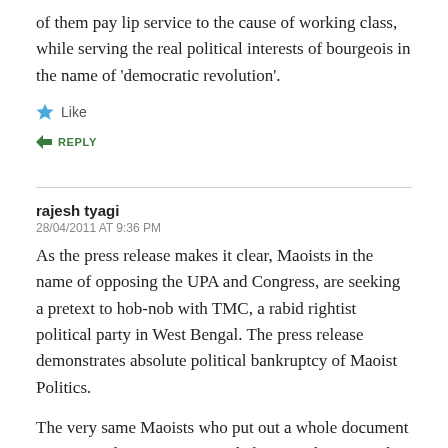of them pay lip service to the cause of working class, while serving the real political interests of bourgeois in the name of 'democratic revolution'.
Like
REPLY
rajesh tyagi
28/04/2011 AT 9:36 PM
As the press release makes it clear, Maoists in the name of opposing the UPA and Congress, are seeking a pretext to hob-nob with TMC, a rabid rightist political party in West Bengal. The press release demonstrates absolute political bankruptcy of Maoist Politics.
The very same Maoists who put out a whole document in 2005 parliamentary general elections theorising the